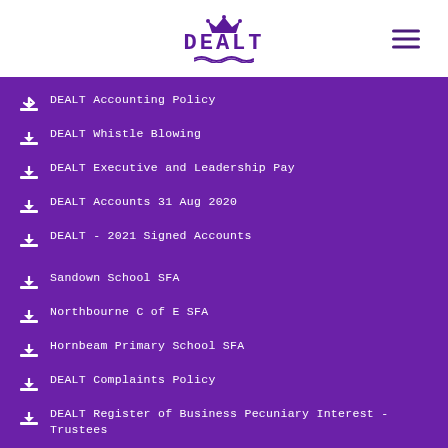DEALT
DEALT Accounting Policy
DEALT Whistle Blowing
DEALT Executive and Leadership Pay
DEALT Accounts 31 Aug 2020
DEALT - 2021 Signed Accounts
Sandown School SFA
Northbourne C of E SFA
Hornbeam Primary School SFA
DEALT Complaints Policy
DEALT Register of Business Pecuniary Interest - Trustees
DEALT Register of Business Pecuniary Interest - Central